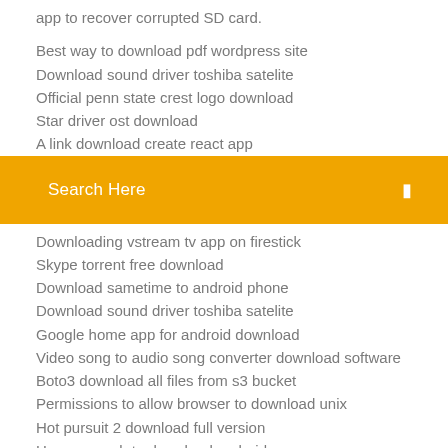app to recover corrupted SD card.
Best way to download pdf wordpress site
Download sound driver toshiba satelite
Official penn state crest logo download
Star driver ost download
A link download create react app
Search Here
Downloading vstream tv app on firestick
Skype torrent free download
Download sametime to android phone
Download sound driver toshiba satelite
Google home app for android download
Video song to audio song converter download software
Boto3 download all files from s3 bucket
Permissions to allow browser to download unix
Hot pursuit 2 download full version
How many gb to download android oreo